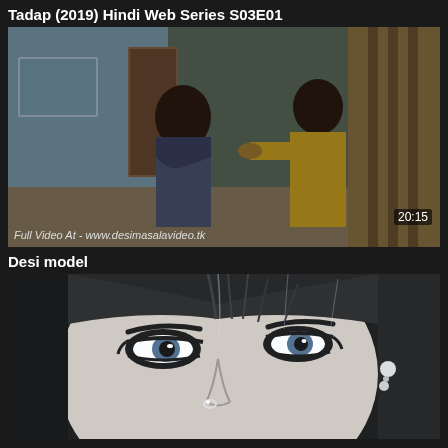Tadap (2019) Hindi Web Series S03E01
[Figure (photo): Video thumbnail showing two people in an indoor scene, one wearing a yellow kurta and one in a saree. Watermark reads 'Full Video At - www.desimasalavideo.tk' and duration shows 20:15]
Desi model
[Figure (photo): Close-up black and white video thumbnail of a woman's face with heavy eye makeup, nose ring, and wet hair]